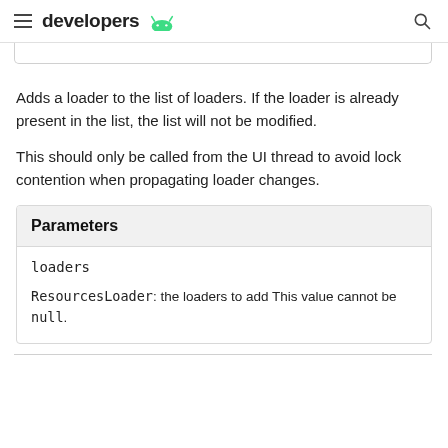≡ developers 🤖 🔍
Adds a loader to the list of loaders. If the loader is already present in the list, the list will not be modified.
This should only be called from the UI thread to avoid lock contention when propagating loader changes.
| Parameters |
| --- |
| loaders | ResourcesLoader: the loaders to add This value cannot be null. |